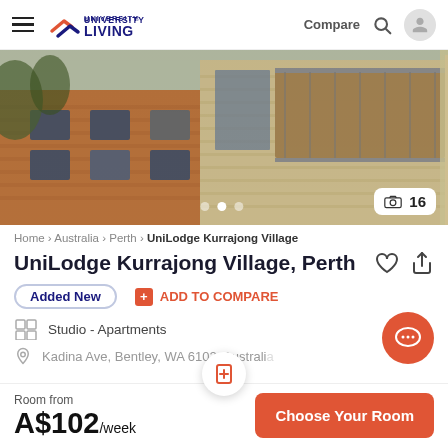University Living — Compare, Search, User
[Figure (photo): Exterior photo of UniLodge Kurrajong Village brick apartment building with balconies, trees visible. Image counter shows 16 photos.]
Home › Australia › Perth › UniLodge Kurrajong Village
UniLodge Kurrajong Village, Perth
Added New
+ ADD TO COMPARE
Studio - Apartments
Kadina Ave, Bentley, WA 6102, Australia
Room from
A$102/week
Choose Your Room